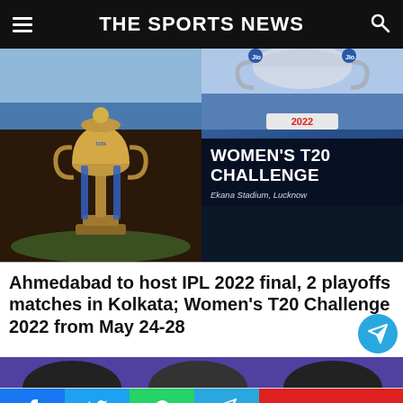THE SPORTS NEWS
[Figure (photo): Left: IPL trophy (gold) on a cricket field. Right: Women's T20 Challenge 2022 promotional graphic with trophy at top, red '2022' badge, white text 'WOMEN'S T20 CHALLENGE', subtext 'Ekana Stadium, Lucknow']
Ahmedabad to host IPL 2022 final, 2 playoffs matches in Kolkata; Women's T20 Challenge 2022 from May 24-28
[Figure (photo): Partial preview strip showing a person/player image with purple background]
Facebook | Twitter | WhatsApp | Telegram | Next Article